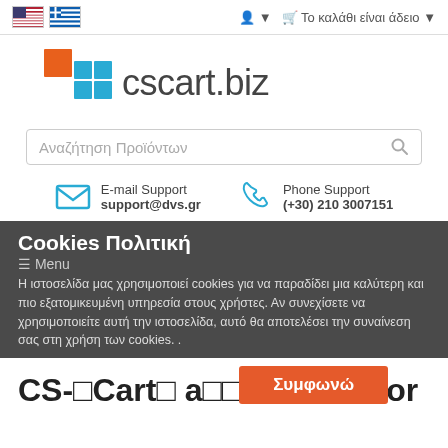🇺🇸 🇬🇷  👤 ▾  🛒 Το καλάθι είναι άδειο ▾
[Figure (logo): cscart.biz logo with orange and blue squares grid icon]
Αναζήτηση Προϊόντων
E-mail Support
support@dvs.gr
Phone Support
(+30) 210 3007151
Cookies Πολιτική
≡ Menu
Η ιστοσελίδα μας χρησιμοποιεί cookies για να παραδίδει μια καλύτερη και πιο εξατομικευμένη υπηρεσία στους χρήστες. Αν συνεχίσετε να χρησιμοποιείτε αυτή την ιστοσελίδα, αυτό θα αποτελέσει την συναίνεση σας στη χρήση των cookies. .
Συμφωνώ
CS-□Cart□ a□□□□□-Vendor